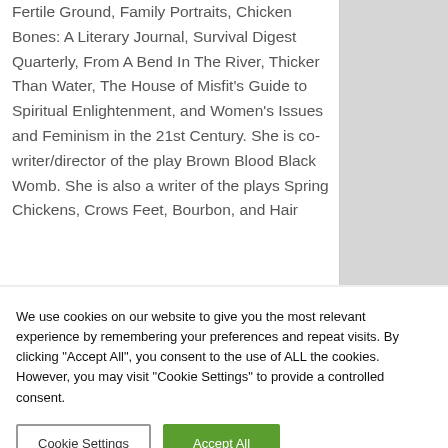Fertile Ground, Family Portraits, Chicken Bones: A Literary Journal, Survival Digest Quarterly, From A Bend In The River, Thicker Than Water, The House of Misfit's Guide to Spiritual Enlightenment, and Women's Issues and Feminism in the 21st Century. She is co-writer/director of the play Brown Blood Black Womb. She is also a writer of the plays Spring Chickens, Crows Feet, Bourbon, and Hair
We use cookies on our website to give you the most relevant experience by remembering your preferences and repeat visits. By clicking "Accept All", you consent to the use of ALL the cookies. However, you may visit "Cookie Settings" to provide a controlled consent.